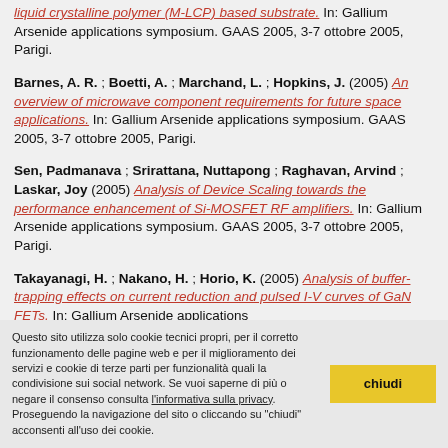liquid crystalline polymer (M-LCP) based substrate. In: Gallium Arsenide applications symposium. GAAS 2005, 3-7 ottobre 2005, Parigi.
Barnes, A. R. ; Boetti, A. ; Marchand, L. ; Hopkins, J. (2005) An overview of microwave component requirements for future space applications. In: Gallium Arsenide applications symposium. GAAS 2005, 3-7 ottobre 2005, Parigi.
Sen, Padmanava ; Srirattana, Nuttapong ; Raghavan, Arvind ; Laskar, Joy (2005) Analysis of Device Scaling towards the performance enhancement of Si-MOSFET RF amplifiers. In: Gallium Arsenide applications symposium. GAAS 2005, 3-7 ottobre 2005, Parigi.
Takayanagi, H. ; Nakano, H. ; Horio, K. (2005) Analysis of buffer-trapping effects on current reduction and pulsed I-V curves of GaN FETs. In: Gallium Arsenide applications...
Questo sito utilizza solo cookie tecnici propri, per il corretto funzionamento delle pagine web e per il miglioramento dei servizi e cookie di terze parti per funzionalità quali la condivisione sui social network. Se vuoi saperne di più o negare il consenso consulta l'informativa sulla privacy. Proseguendo la navigazione del sito o cliccando su "chiudi" acconsenti all'uso dei cookie.